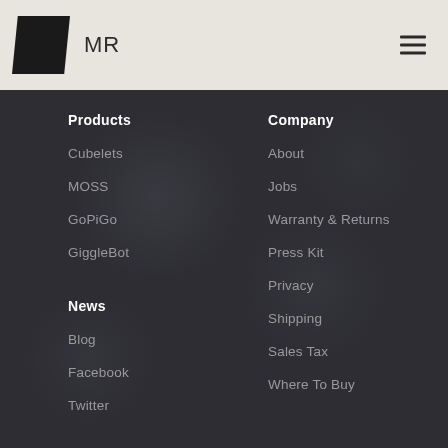MR
Products
Cubelets
MOSS
GoPiGo
GiggleBot
News
Blog
Facebook
Twitter
Company
About
Jobs
Warranty & Returns
Press Kit
Privacy
Shipping
Sales Tax
Where To Buy